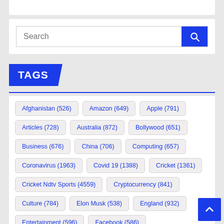TAGS
Afghanistan (526)
Amazon (649)
Apple (791)
Articles (728)
Australia (872)
Bollywood (651)
Business (676)
China (706)
Computing (657)
Coronavirus (1963)
Covid 19 (1388)
Cricket (1361)
Cricket Ndtv Sports (4559)
Cryptocurrency (841)
Culture (784)
Elon Musk (538)
England (932)
Entertainment (596)
Facebook (586)